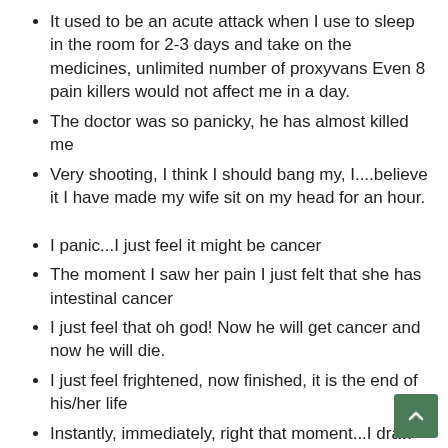It used to be an acute attack when I use to sleep in the room for 2-3 days and take on the medicines, unlimited number of proxyvans Even 8 pain killers would not affect me in a day.
The doctor was so panicky, he has almost killed me
Very shooting, I think I should bang my, I....believe it I have made my wife sit on my head for an hour.
I panic...I just feel it might be cancer
The moment I saw her pain I just felt that she has intestinal cancer
I just feel that oh god! Now he will get cancer and now he will die.
I just feel frightened, now finished, it is the end of his/her life
Instantly, immediately, right that moment...I draw all conclusions, I call all the contacts that I know... I just panic...